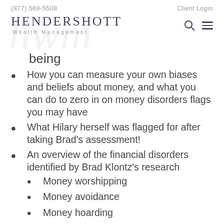(877) 569-5508    Client Login
[Figure (logo): Hendershott Wealth Management logo with stylized watermark initials]
being
How you can measure your own biases and beliefs about money, and what you can do to zero in on money disorders flags you may have
What Hilary herself was flagged for after taking Brad's assessment!
An overview of the financial disorders identified by Brad Klontz's research
Money worshipping
Money avoidance
Money hoarding